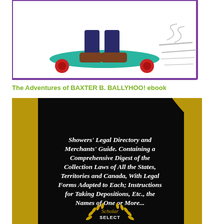[Figure (illustration): Cartoon illustration showing feet/legs on a skateboard with motion lines, with a purple border frame]
The Adventures of BAXTER B. BALLYHOO! ebook
[Figure (photo): Book cover with black background and gold/olive border. White bold italic text reads: Showers' Legal Directory and Merchants' Guide. Containing a Comprehensive Digest of the Collection Laws of All the States, Territories and Canada, With Legal Forms Adapted to Each; Instructions for Taking Depositions, Etc., the Names of One or More... At the bottom is a gold laurel wreath emblem with 'Scholar SELECT' text.]